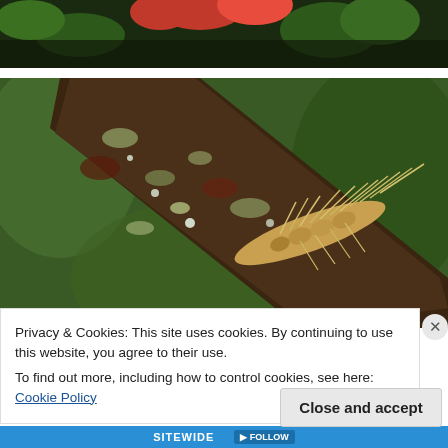[Figure (photo): Close-up photo of a red berry or fruit with green leaves in background, partially visible at top of page]
[Figure (photo): Close-up macro photograph of a hairy/fuzzy caterpillar on a lichen-covered tree branch with blurred green background]
Privacy & Cookies: This site uses cookies. By continuing to use this website, you agree to their use.
To find out more, including how to control cookies, see here: Cookie Policy
Close and accept